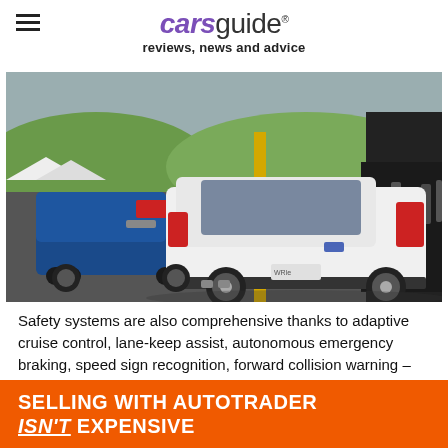carsguide reviews, news and advice
[Figure (photo): Rear view of a white Subaru wagon and blue Subaru sedan parked on a track/venue with people in the background]
Safety systems are also comprehensive thanks to adaptive cruise control, lane-keep assist, autonomous emergency braking, speed sign recognition, forward collision warning – though these features are only confirmed on CVT-equipped models –
[Figure (other): Orange advertisement banner: SELLING WITH AUTOTRADER ISN'T EXPENSIVE]